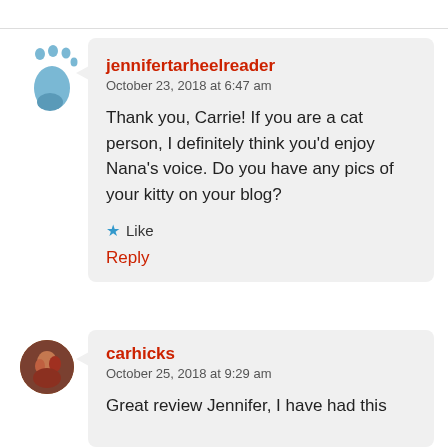jennifertarheelreader
October 23, 2018 at 6:47 am

Thank you, Carrie! If you are a cat person, I definitely think you'd enjoy Nana's voice. Do you have any pics of your kitty on your blog?

★ Like

Reply
carhicks
October 25, 2018 at 9:29 am

Great review Jennifer, I have had this